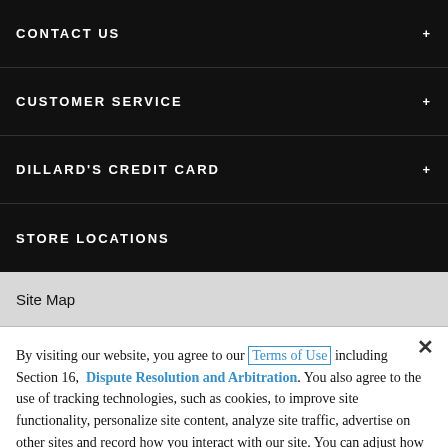CONTACT US
CUSTOMER SERVICE
DILLARD'S CREDIT CARD
STORE LOCATIONS
Site Map
By visiting our website, you agree to our Terms of Use including Section 16, Dispute Resolution and Arbitration. You also agree to the use of tracking technologies, such as cookies, to improve site functionality, personalize site content, analyze site traffic, advertise on other sites and record how you interact with our site. You can adjust how certain technologies are used on our site through Cookie Settings.